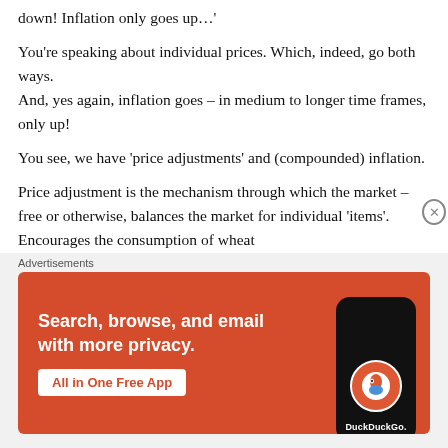down! Inflation only goes up…'
You’re speaking about individual prices. Which, indeed, go both ways.
And, yes again, inflation goes – in medium to longer time frames, only up!
You see, we have ‘price adjustments’ and (compounded) inflation.
Price adjustment is the mechanism through which the market – free or otherwise, balances the market for individual ‘items’. Encourages the consumption of wheat
[Figure (other): DuckDuckGo advertisement banner: orange background with text 'Search, browse, and email with more privacy. All in One Free App' and a phone graphic showing the DuckDuckGo logo]